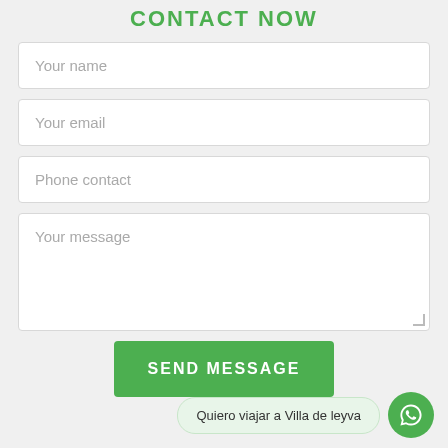CONTACT NOW
Your name
Your email
Phone contact
Your message
SEND MESSAGE
Quiero viajar a Villa de leyva